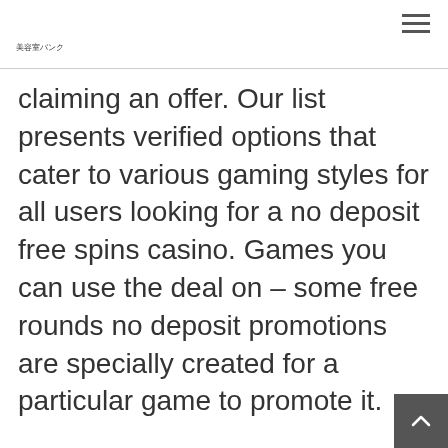美容室バンク
claiming an offer. Our list presents verified options that cater to various gaming styles for all users looking for a no deposit free spins casino. Games you can use the deal on – some free rounds no deposit promotions are specially created for a particular game to promote it.
For example, the way wagering requirements work is usually – you have to play through your free spins once. Then, your winnings have to be bet a p